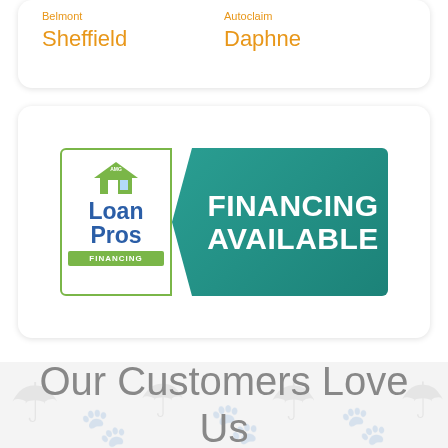Sheffield / Daphne
[Figure (logo): Loan Pros Financing badge with 'FINANCING AVAILABLE' text on teal arrow background]
Our Customers Love Us